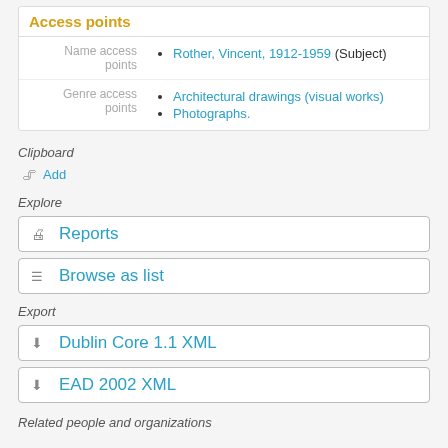Access points
| Label | Values |
| --- | --- |
| Name access points | Rother, Vincent, 1912-1959 (Subject) |
| Genre access points | Architectural drawings (visual works)
Photographs. |
Clipboard
Add
Explore
Reports
Browse as list
Export
Dublin Core 1.1 XML
EAD 2002 XML
Related people and organizations